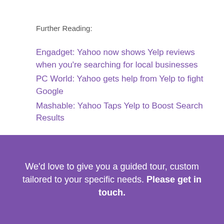Further Reading:
Engadget: Yahoo now shows Yelp reviews when you're searching for local businesses
PC World: Yahoo gets help from Yelp to fight Google
Mashable: Yahoo Taps Yelp to Boost Search Results
We'd love to give you a guided tour, custom tailored to your specific needs. Please get in touch.